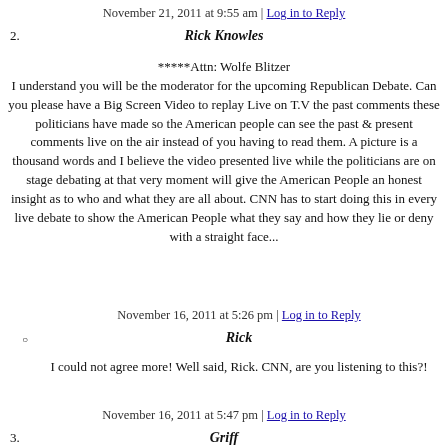November 21, 2011 at 9:55 am | Log in to Reply
2. Rick Knowles
*****Attn: Wolfe Blitzer
I understand you will be the moderator for the upcoming Republican Debate. Can you please have a Big Screen Video to replay Live on T.V the past comments these politicians have made so the American people can see the past & present comments live on the air instead of you having to read them. A picture is a thousand words and I believe the video presented live while the politicians are on stage debating at that very moment will give the American People an honest insight as to who and what they are all about. CNN has to start doing this in every live debate to show the American People what they say and how they lie or deny with a straight face...
November 16, 2011 at 5:26 pm | Log in to Reply
Rick
I could not agree more! Well said, Rick. CNN, are you listening to this?!
November 16, 2011 at 5:47 pm | Log in to Reply
3. Griff